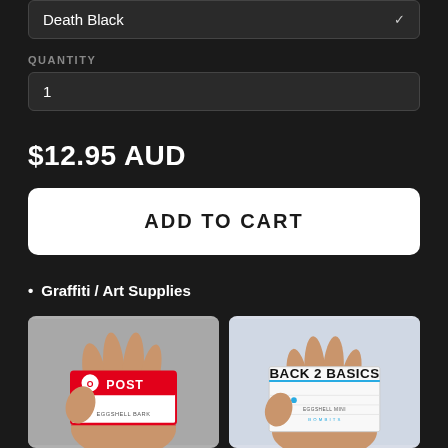Death Black
QUANTITY
1
$12.95 AUD
ADD TO CART
Graffiti / Art Supplies
[Figure (photo): Hand holding an Australia Post eggshell sticker pack]
[Figure (photo): Hand holding a Back 2 Basics eggshell sticker pack]